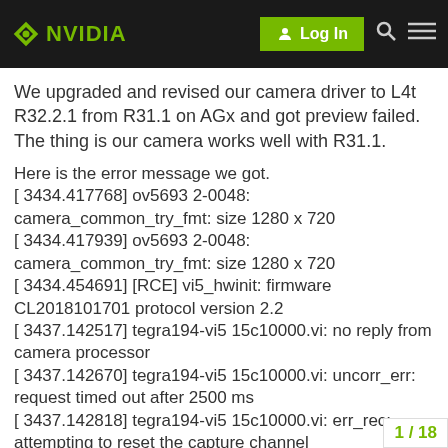NVIDIA | Log In
We upgraded and revised our camera driver to L4t R32.2.1 from R31.1 on AGx and got preview failed. The thing is our camera works well with R31.1.
Here is the error message we got.
[ 3434.417768] ov5693 2-0048: camera_common_try_fmt: size 1280 x 720
[ 3434.417939] ov5693 2-0048: camera_common_try_fmt: size 1280 x 720
[ 3434.454691] [RCE] vi5_hwinit: firmware CL2018101701 protocol version 2.2
[ 3437.142517] tegra194-vi5 15c10000.vi: no reply from camera processor
[ 3437.142670] tegra194-vi5 15c10000.vi: uncorr_err: request timed out after 2500 ms
[ 3437.142818] tegra194-vi5 15c10000.vi: err_rec: attempting to reset the capture channel
[ 3437.145828] tegra194-vi5 15c10000.vi: err_rec: successfully reset the capture channel
1 / 18